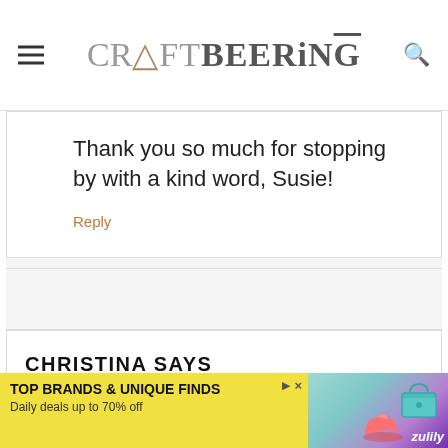CRAFTBEERING
Thank you so much for stopping by with a kind word, Susie!
Reply
CHRISTINA SAYS
[Figure (infographic): Advertisement banner: TOP BRANDS & UNIQUE FINDS, Daily deals up to 70% off, Zulily ad with teal/purple background showing a bag and sneaker.]